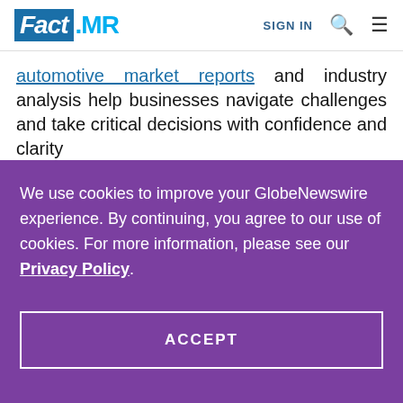Fact.MR | SIGN IN
automotive market reports and industry analysis help businesses navigate challenges and take critical decisions with confidence and clarity
We use cookies to improve your GlobeNewswire experience. By continuing, you agree to our use of cookies. For more information, please see our Privacy Policy.
ACCEPT